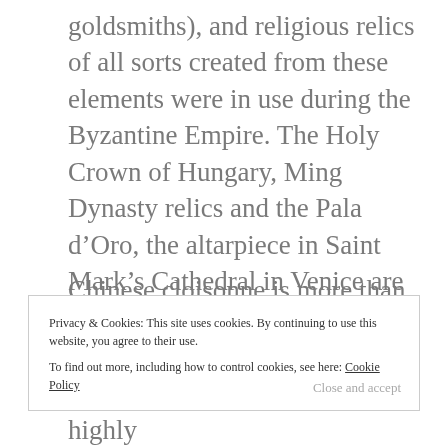goldsmiths), and religious relics of all sorts created from these elements were in use during the Byzantine Empire. The Holy Crown of Hungary, Ming Dynasty relics and the Pala d’Oro, the altarpiece in Saint Mark’s Cathedral in Venice are some major examples of this technique.
Chinese cloisonne is more than
Privacy & Cookies: This site uses cookies. By continuing to use this website, you agree to their use.
To find out more, including how to control cookies, see here: Cookie Policy
Close and accept
century. Russian cloisonne is highly